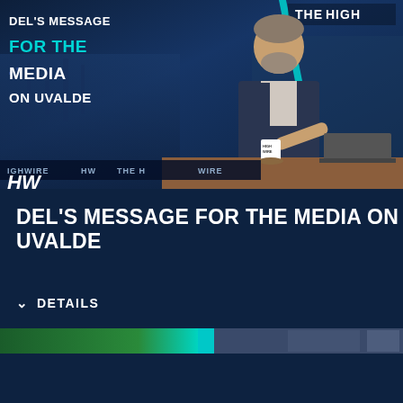[Figure (screenshot): Thumbnail image of a man in a vest sitting at a desk with a laptop and mug, with text overlay reading DEL'S MESSAGE FOR THE MEDIA ON UVALDE and HighWire branding. Top right shows THEHIGH logo.]
DEL'S MESSAGE FOR THE MEDIA ON UVALDE
DETAILS
[Figure (screenshot): Partial strip of thumbnail images at the bottom of the page showing green, teal and grey colored segments.]